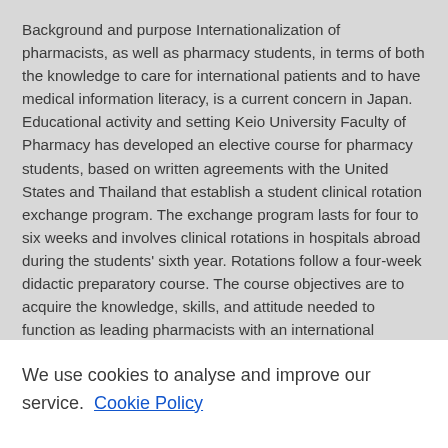Background and purpose Internationalization of pharmacists, as well as pharmacy students, in terms of both the knowledge to care for international patients and to have medical information literacy, is a current concern in Japan. Educational activity and setting Keio University Faculty of Pharmacy has developed an elective course for pharmacy students, based on written agreements with the United States and Thailand that establish a student clinical rotation exchange program. The exchange program lasts for four to six weeks and involves clinical rotations in hospitals abroad during the students' sixth year. Rotations follow a four-week didactic preparatory course. The course objectives are to acquire the knowledge, skills, and attitude needed to function as leading pharmacists with an international perspective. Methods We asked students to complete a feedback survey inquiring about the usefulness of preparatory courses, self-evaluation pre- and post-rotation satisfaction with the program, and overall self-assessment. Findings Twenty-four
We use cookies to analyse and improve our service. Cookie Policy